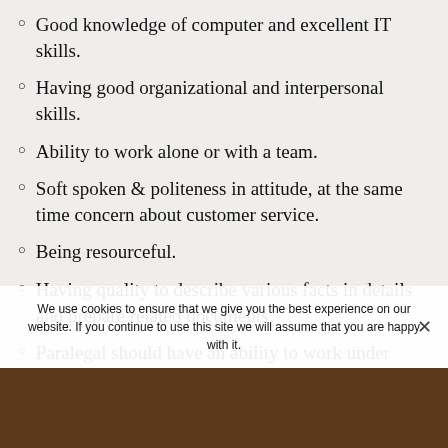Good knowledge of computer and excellent IT skills.
Having good organizational and interpersonal skills.
Ability to work alone or with a team.
Soft spoken & politeness in attitude, at the same time concern about customer service.
Being resourceful.
Having quality to describe various facts in details and prepare related documents.
Paralegal should have an ability to work under pressure.
Ability to maintain strict confidentiality of documents and details.
We use cookies to ensure that we give you the best experience on our website. If you continue to use this site we will assume that you are happy with it.